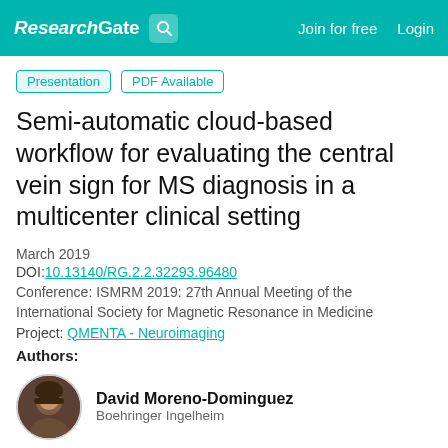ResearchGate  Join for free  Login
Presentation  PDF Available
Semi-automatic cloud-based workflow for evaluating the central vein sign for MS diagnosis in a multicenter clinical setting
March 2019
DOI:10.13140/RG.2.2.32293.96480
Conference: ISMRM 2019: 27th Annual Meeting of the International Society for Magnetic Resonance in Medicine
Project: QMENTA - Neuroimaging
Authors:
David Moreno-Dominguez
Boehringer Ingelheim
Marc Ramos Bruach
QMENTA